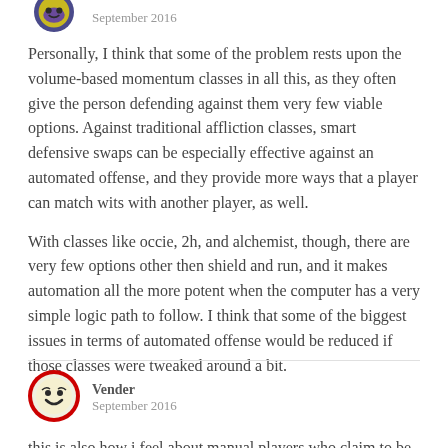[Figure (illustration): User avatar: circular avatar with green/yellow/purple design, partially visible at top]
September 2016
Personally, I think that some of the problem rests upon the volume-based momentum classes in all this, as they often give the person defending against them very few viable options. Against traditional affliction classes, smart defensive swaps can be especially effective against an automated offense, and they provide more ways that a player can match wits with another player, as well.
With classes like occie, 2h, and alchemist, though, there are very few options other then shield and run, and it makes automation all the more potent when the computer has a very simple logic path to follow. I think that some of the biggest issues in terms of automated offense would be reduced if those classes were tweaked around a bit.
[Figure (illustration): User avatar: circular avatar with red border and smiley face icon for user Vender]
Vender
September 2016
this is also how i feel about manual players who claim to be